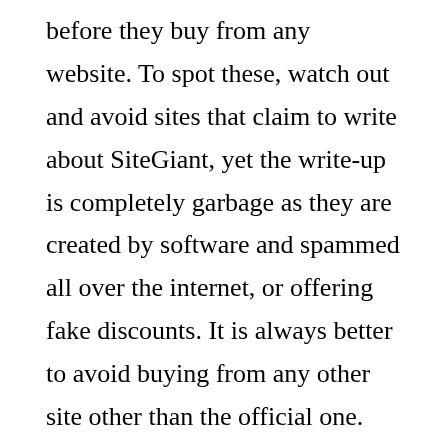before they buy from any website. To spot these, watch out and avoid sites that claim to write about SiteGiant, yet the write-up is completely garbage as they are created by software and spammed all over the internet, or offering fake discounts. It is always better to avoid buying from any other site other than the official one. Therefore, it is highly advised that consumers do careful research, or only buy from the site from the official website here – http://SiteGiantOfficial.com/